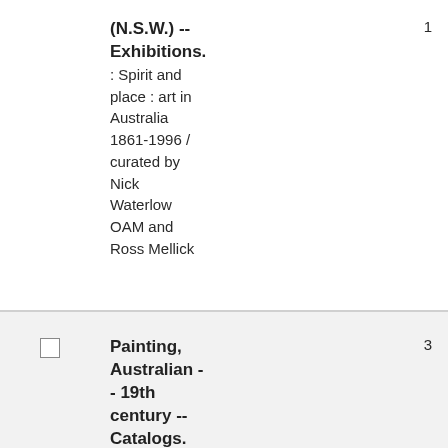(N.S.W.) -- Exhibitions.
: Spirit and place : art in Australia 1861-1996 / curated by Nick Waterlow OAM and Ross Mellick
1
Painting, Australian -- 19th century -- Catalogs.
3